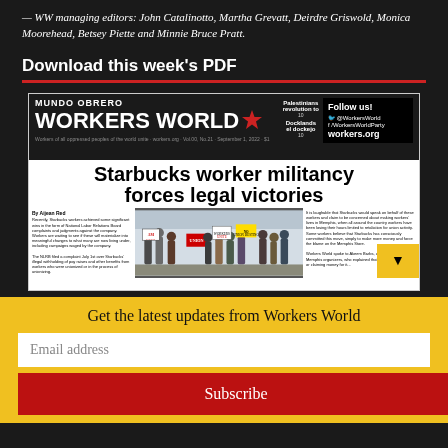— WW managing editors: John Catalinotto, Martha Grevatt, Deirdre Griswold, Monica Moorehead, Betsey Piette and Minnie Bruce Pratt.
Download this week's PDF
[Figure (screenshot): Thumbnail of Workers World newspaper front page with headline 'Starbucks worker militancy forces legal victories', showing protesters holding signs.]
Get the latest updates from Workers World
Email address
Subscribe